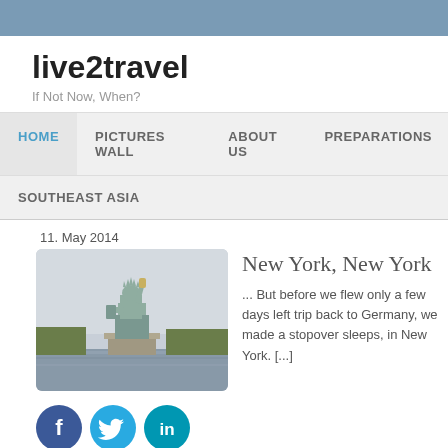live2travel — If Not Now, When?
live2travel
If Not Now, When?
HOME | PICTURES WALL | ABOUT US | PREPARATIONS | SOUTHEAST ASIA
11. May 2014
[Figure (photo): Photo of the Statue of Liberty with water in foreground and trees behind the statue]
New York, New York
... But before we flew only a few days left trip back to Germany, we made a stopover sleeps, in New York. [...]
[Figure (illustration): Social media icons: Facebook (dark blue circle with f), Twitter (light blue circle with bird), LinkedIn (teal circle with in)]